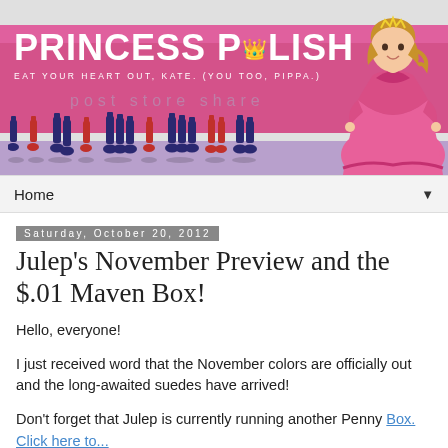[Figure (illustration): Princess Polish blog header banner with pink ribbon background, nail polish bottles row, and princess cartoon figure in pink gown. Title reads PRINCESS POLISH with crown icon, subtitle EAT YOUR HEART OUT, KATE. (YOU TOO, PIPPA.)]
Home
Saturday, October 20, 2012
Julep's November Preview and the $.01 Maven Box!
Hello, everyone!
I just received word that the November colors are officially out and the long-awaited suedes have arrived!
Don't forget that Julep is currently running another Penny Box. Click here to...